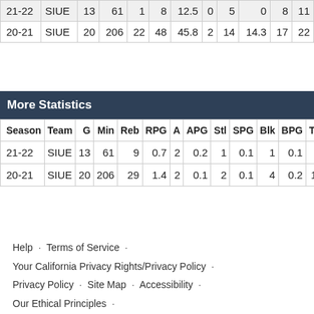| 21-22 | SIUE | 13 | 61 | 1 | 8 | 12.5 | 0 | 5 | 0 | 8 | 11 |  |
| 20-21 | SIUE | 20 | 206 | 22 | 48 | 45.8 | 2 | 14 | 14.3 | 17 | 22 | 7 |
More Statistics
| Season | Team | G | Min | Reb | RPG | A | APG | Stl | SPG | Blk | BPG | TO |  |
| --- | --- | --- | --- | --- | --- | --- | --- | --- | --- | --- | --- | --- | --- |
| 21-22 | SIUE | 13 | 61 | 9 | 0.7 | 2 | 0.2 | 1 | 0.1 | 1 | 0.1 | 3 |  |
| 20-21 | SIUE | 20 | 206 | 29 | 1.4 | 2 | 0.1 | 2 | 0.1 | 4 | 0.2 | 13 | 2 |
Help · Terms of Service · Your California Privacy Rights/Privacy Policy · Privacy Policy · Site Map · Accessibility · Our Ethical Principles · Do Not Sell My Info/Cookie Policy